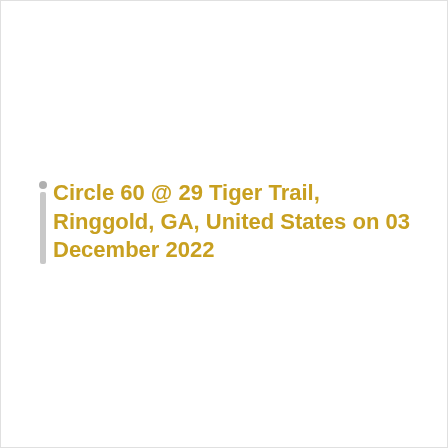Circle 60 @ 29 Tiger Trail, Ringgold, GA, United States on 03 December 2022